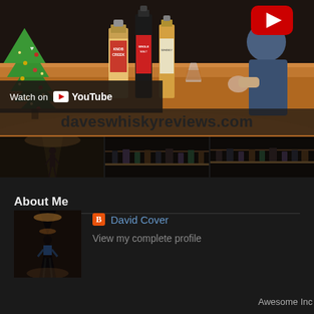[Figure (screenshot): YouTube video thumbnail showing a man with whisky bottles and a Christmas tree, with 'Watch on YouTube' overlay and daveswhiskyreviews.com watermark]
[Figure (photo): Filmstrip of three small thumbnail photos showing a person in a dark corridor and bottles on shelves]
About Me
[Figure (photo): Profile photo of a person walking in a dark tunnel/corridor]
David Cover
View my complete profile
Awesome Inc